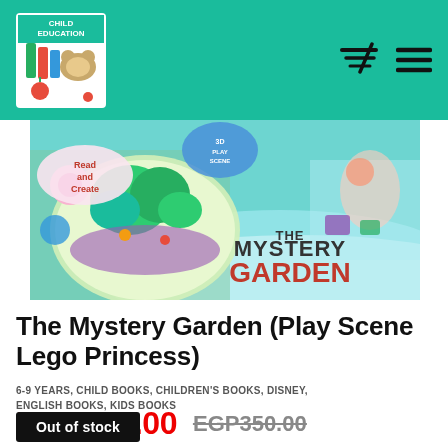Child Education store header with logo, cart icon, and menu icon
[Figure (photo): Product image showing The Mystery Garden Play Scene Lego Princess book/toy with colorful 3D garden scene and 'The Mystery Garden' text overlay on teal/blue background]
The Mystery Garden (Play Scene Lego Princess)
6-9 YEARS, CHILD BOOKS, CHILDREN'S BOOKS, DISNEY, ENGLISH BOOKS, KIDS BOOKS
EGP320.00  EGP350.00
Out of stock